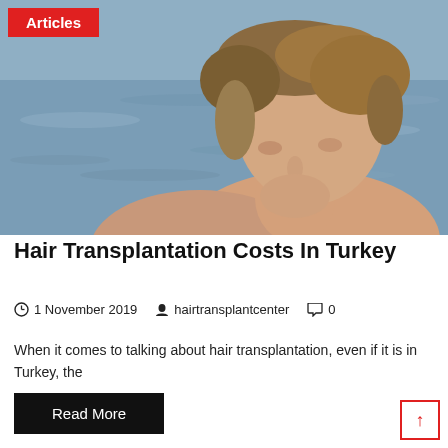[Figure (photo): Young man with styled blonde hair viewed in profile against a water background]
Articles
Hair Transplantation Costs In Turkey
1 November 2019   hairtransplantcenter   0
When it comes to talking about hair transplantation, even if it is in Turkey, the
Read More